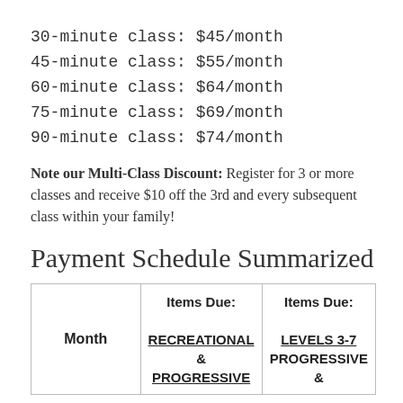30-minute class: $45/month
45-minute class: $55/month
60-minute class: $64/month
75-minute class: $69/month
90-minute class: $74/month
Note our Multi-Class Discount: Register for 3 or more classes and receive $10 off the 3rd and every subsequent class within your family!
Payment Schedule Summarized
| Month | Items Due: RECREATIONAL & PROGRESSIVE | Items Due: LEVELS 3-7 PROGRESSIVE & |
| --- | --- | --- |